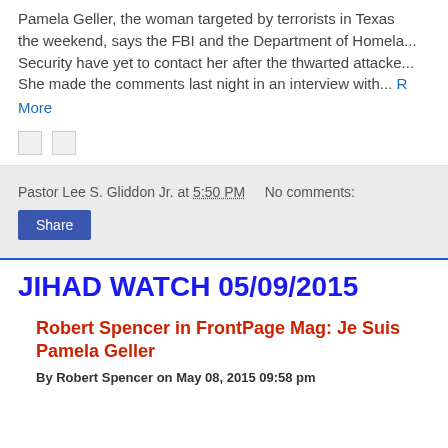Pamela Geller, the woman targeted by terrorists in Texas the weekend, says the FBI and the Department of Homeland Security have yet to contact her after the thwarted attacked. She made the comments last night in an interview with... Read More
Pastor Lee S. Gliddon Jr. at 5:50 PM   No comments:
Share
JIHAD WATCH 05/09/2015
Robert Spencer in FrontPage Mag: Je Suis Pamela Geller
By Robert Spencer on May 08, 2015 09:58 pm